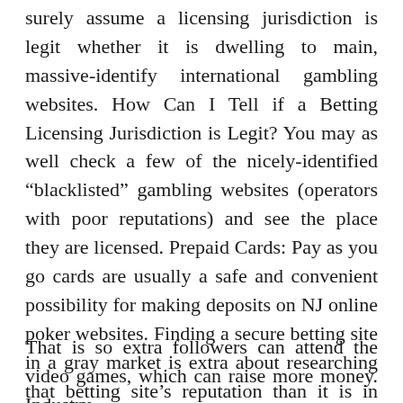surely assume a licensing jurisdiction is legit whether it is dwelling to main, massive-identify international gambling websites. How Can I Tell if a Betting Licensing Jurisdiction is Legit? You may as well check a few of the nicely-identified “blacklisted” gambling websites (operators with poor reputations) and see the place they are licensed. Prepaid Cards: Pay as you go cards are usually a safe and convenient possibility for making deposits on NJ online poker websites. Finding a secure betting site in a gray market is extra about researching that betting site’s reputation than it is in wanting on the license it holds. Read extra about our background on our about us web page.
That is so extra followers can attend the video games, which can raise more money. Industry